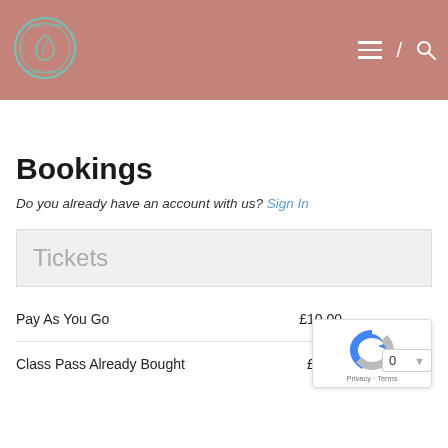[Figure (logo): Circular logo with teal text and icon on a dusty rose/mauve header background]
Bookings
Do you already have an account with us? Sign In
Tickets
|  | Price | Qty |
| --- | --- | --- |
| Pay As You Go | £10.00 |  |
| Class Pass Already Bought | £0.00 | 0 |